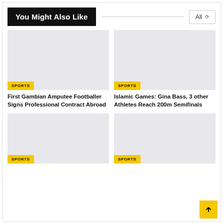You Might Also Like
[Figure (photo): Placeholder image for First Gambian Amputee Footballer article with SPORTS tag]
First Gambian Amputee Footballer Signs Professional Contract Abroad
[Figure (photo): Placeholder image for Islamic Games article with SPORTS tag]
Islamic Games: Gina Bass, 3 other Athletes Reach 200m Semifinals
[Figure (photo): Placeholder image card bottom left with SPORTS tag]
[Figure (photo): Placeholder image card bottom right with SPORTS tag]